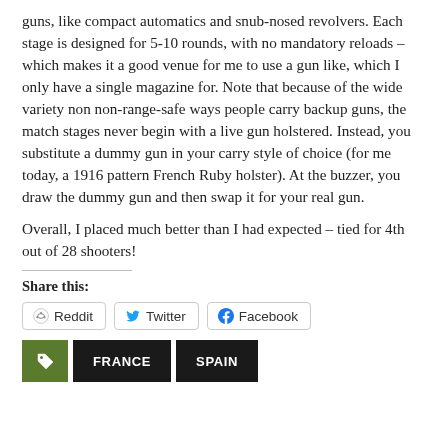guns, like compact automatics and snub-nosed revolvers. Each stage is designed for 5-10 rounds, with no mandatory reloads – which makes it a good venue for me to use a gun like, which I only have a single magazine for. Note that because of the wide variety non non-range-safe ways people carry backup guns, the match stages never begin with a live gun holstered. Instead, you substitute a dummy gun in your carry style of choice (for me today, a 1916 pattern French Ruby holster). At the buzzer, you draw the dummy gun and then swap it for your real gun.
Overall, I placed much better than I had expected – tied for 4th out of 28 shooters!
Share this:
Reddit  Twitter  Facebook
FRANCE  SPAIN